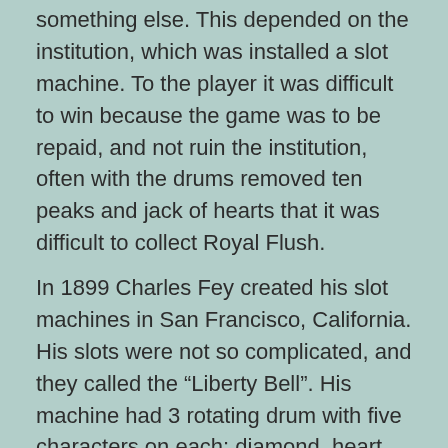something else. This depended on the institution, which was installed a slot machine. To the player it was difficult to win because the game was to be repaid, and not ruin the institution, often with the drums removed ten peaks and jack of hearts that it was difficult to collect Royal Flush.
In 1899 Charles Fey created his slot machines in San Francisco, California. His slots were not so complicated, and they called the “Liberty Bell”. His machine had 3 rotating drum with five characters on each: diamond, heart, horseshoe, spades, and the bell of freedom –